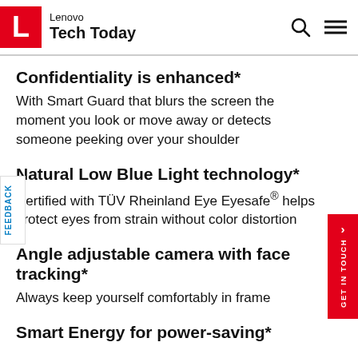Lenovo Tech Today
Confidentiality is enhanced*
With Smart Guard that blurs the screen the moment you look or move away or detects someone peeking over your shoulder
Natural Low Blue Light technology*
Certified with TÜV Rheinland Eye Eyesafe® helps protect eyes from strain without color distortion
Angle adjustable camera with face tracking*
Always keep yourself comfortably in frame
Smart Energy for power-saving*